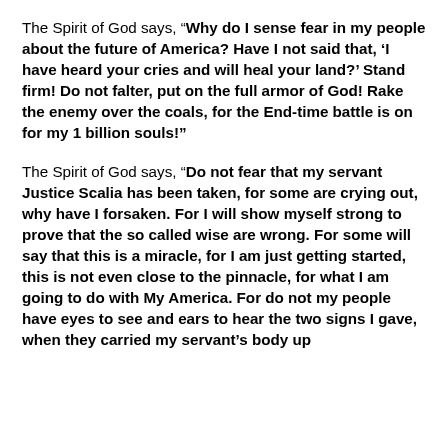The Spirit of God says, “Why do I sense fear in my people about the future of America? Have I not said that, ‘I have heard your cries and will heal your land?’ Stand firm! Do not falter, put on the full armor of God! Rake the enemy over the coals, for the End-time battle is on for my 1 billion souls!”
The Spirit of God says, “Do not fear that my servant Justice Scalia has been taken, for some are crying out, why have I forsaken. For I will show myself strong to prove that the so called wise are wrong. For some will say that this is a miracle, for I am just getting started, this is not even close to the pinnacle, for what I am going to do with My America. For do not my people have eyes to see and ears to hear the two signs I gave, when they carried my servant’s body up